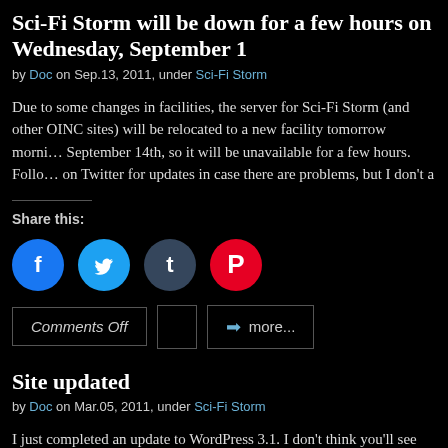Sci-Fi Storm will be down for a few hours on Wednesday, September 1
by Doc on Sep.13, 2011, under Sci-Fi Storm
Due to some changes in facilities, the server for Sci-Fi Storm (and other OINC sites) will be relocated to a new facility tomorrow morning, September 14th, so it will be unavailable for a few hours. Follow on Twitter for updates in case there are problems, but I don't a
Share this:
[Figure (infographic): Four social share buttons: Facebook (blue circle with f), Twitter (light blue circle with bird icon), Tumblr (dark blue circle with t), Pinterest (red circle with P)]
Comments Off   more...
Site updated
by Doc on Mar.05, 2011, under Sci-Fi Storm
I just completed an update to WordPress 3.1. I don't think you'll see any changes (although if you are logged in, there appears to be a bar at the top of the screen), but let me know if anything appears br